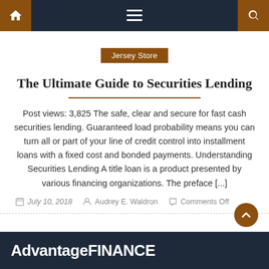Navigation bar with home, menu, and search icons
Jersey Store
The Ultimate Guide to Securities Lending
Post views: 3,825 The safe, clear and secure for fast cash securities lending. Guaranteed load probability means you can turn all or part of your line of credit control into installment loans with a fixed cost and bonded payments. Understanding Securities Lending A title loan is a product presented by various financing organizations. The preface [...]
July 10, 2018  Audrey E. Waldron  Comments Off
AdvantageFINANCE